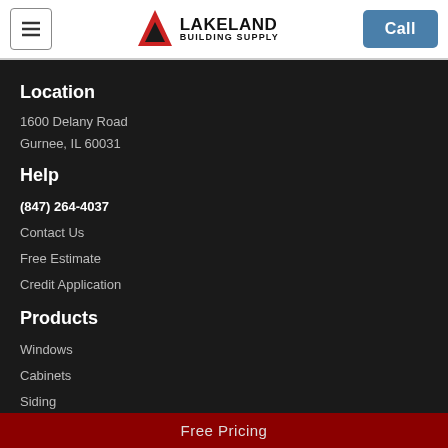Lakeland Building Supply — Navigation header with hamburger menu, logo, and Call button
Location
1600 Delany Road
Gurnee, IL 60031
Help
(847) 264-4037
Contact Us
Free Estimate
Credit Application
Products
Windows
Cabinets
Siding
Decking
Doors
Shutters
Service Areas
Free Pricing